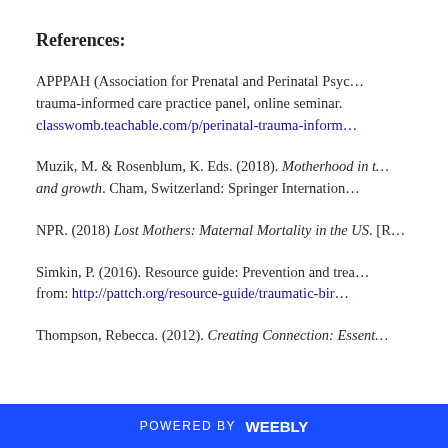References:
APPPAH (Association for Prenatal and Perinatal Psychology and Health). Perinatal trauma-informed care practice panel, online seminar. classwomb.teachable.com/p/perinatal-trauma-informed-care
Muzik, M. & Rosenblum, K. Eds. (2018). Motherhood in the face of trauma: Pathways to strength and growth. Cham, Switzerland: Springer International.
NPR. (2018) Lost Mothers: Maternal Mortality in the US. [Radio broadcast]
Simkin, P. (2016). Resource guide: Prevention and treatment of traumatic childbirth. Retrieved from: http://pattch.org/resource-guide/traumatic-birth
Thompson, Rebecca. (2012). Creating Connection: Essentials for Growing Minds.
POWERED BY weebly